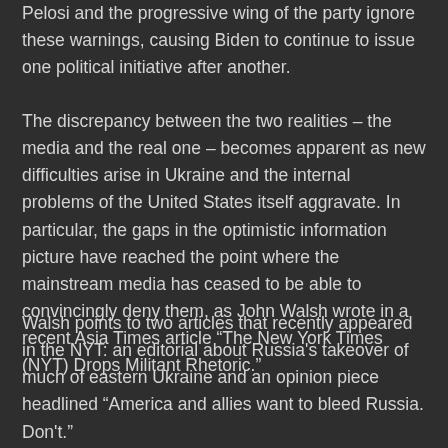Pelosi and the progressive wing of the party ignore these warnings, causing Biden to continue to issue one political initiative after another.
The discrepancy between the two realities – the media and the real one – becomes apparent as new difficulties arise in Ukraine and the internal problems of the United States itself aggravate. In particular, the gaps in the optimistic information picture have reached the point where the mainstream media has ceased to be able to convincingly deny them, as John Walsh wrote in a recent Asia Times article “The New York Times (NYT) Drops Militant Rhetoric.”
Walsh points to two articles that recently appeared in the NYT: an editorial about Russia's takeover of much of eastern Ukraine and an opinion piece headlined “America and allies want to bleed Russia. Don't.”